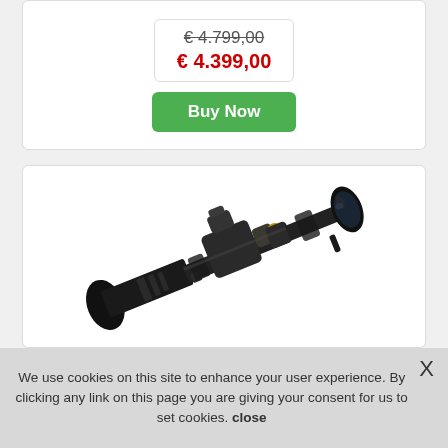€ 4.799,00 (strikethrough original price)
€ 4.399,00 (sale price in red)
Buy Now
[Figure (photo): Black rifle scope / riflescope shown diagonally from left to right, with adjustment turrets visible in the center, on a white background.]
We use cookies on this site to enhance your user experience. By clicking any link on this page you are giving your consent for us to set cookies. close